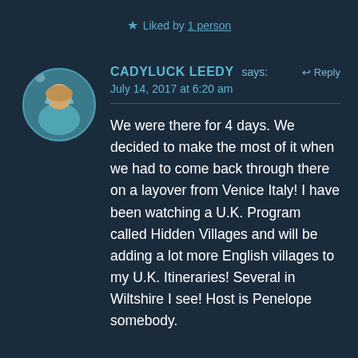★ Liked by 1 person
CADYLUCK LEEDY says: ↩ Reply
July 14, 2017 at 6:20 am
We were there for 4 days. We decided to make the most of it when we had to come back through there on a layover from Venice Italy! I have been watching a U.K. Program called Hidden Villages and will be adding a lot more English villages to my U.K. Itineraries! Several in Wiltshire I see! Host is Penelope somebody.